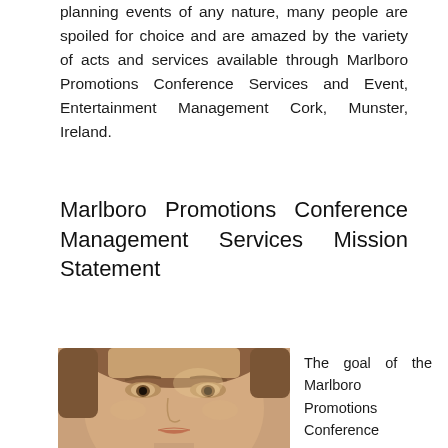planning events of any nature, many people are spoiled for choice and are amazed by the variety of acts and services available through Marlboro Promotions Conference Services and Event, Entertainment Management Cork, Munster, Ireland.
Marlboro Promotions Conference Management Services Mission Statement
[Figure (photo): Close-up photo of a young woman's face, looking directly at camera, with natural lighting and light brown hair.]
The goal of the Marlboro Promotions Conference Management Services team is to...